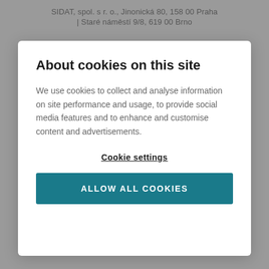SIDAT, spol. s r. o., Jinonická 80, 158 00 Praha | Staré náměstí 9/8, 619 00 Brno
About cookies on this site
We use cookies to collect and analyse information on site performance and usage, to provide social media features and to enhance and customise content and advertisements.
Cookie settings
ALLOW ALL COOKIES